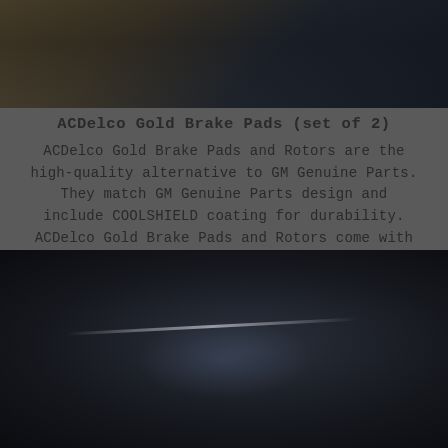[Figure (photo): Partial photo at top of page showing dark workshop/automotive setting with warm brown tones]
ACDelco Gold Brake Pads (set of 2)
ACDelco Gold Brake Pads and Rotors are the high-quality alternative to GM Genuine Parts. They match GM Genuine Parts design and include COOLSHIELD coating for durability. ACDelco Gold Brake Pads and Rotors come with a 2-year limited warranty.
[Figure (photo): Dark automotive workshop photo showing a mechanic tool (screwdriver or brake tool) being used on a brake assembly, with a blue screen/device visible in background]